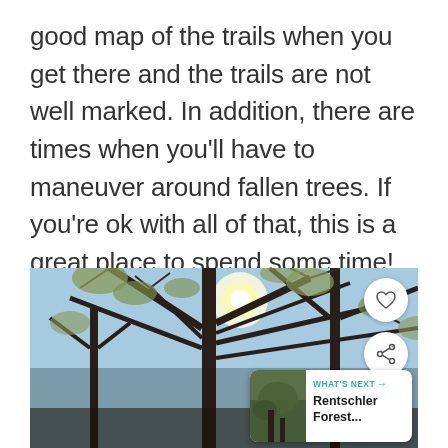good map of the trails when you get there and the trails are not well marked. In addition, there are times when you’ll have to maneuver around fallen trees. If you’re ok with all of that, this is a great place to spend some time!
[Figure (photo): Photo looking up through bare tree branches with sun shining through, spring foliage visible, blue sky background. Overlaid UI elements include a heart/favorite button, a share button, and a 'What's Next' card showing Rentschler Forest.]